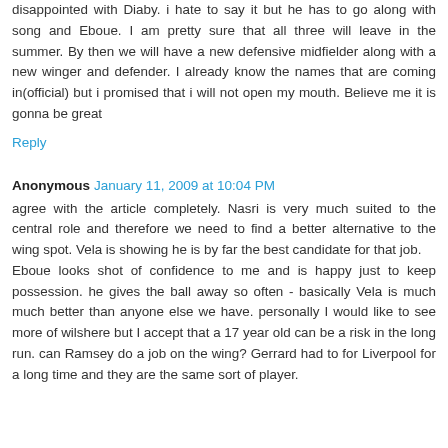disappointed with Diaby. i hate to say it but he has to go along with song and Eboue. I am pretty sure that all three will leave in the summer. By then we will have a new defensive midfielder along with a new winger and defender. I already know the names that are coming in(official) but i promised that i will not open my mouth. Believe me it is gonna be great
Reply
Anonymous  January 11, 2009 at 10:04 PM
agree with the article completely. Nasri is very much suited to the central role and therefore we need to find a better alternative to the wing spot. Vela is showing he is by far the best candidate for that job.
Eboue looks shot of confidence to me and is happy just to keep possession. he gives the ball away so often - basically Vela is much much better than anyone else we have. personally I would like to see more of wilshere but I accept that a 17 year old can be a risk in the long run. can Ramsey do a job on the wing? Gerrard had to for Liverpool for a long time and they are the same sort of player.